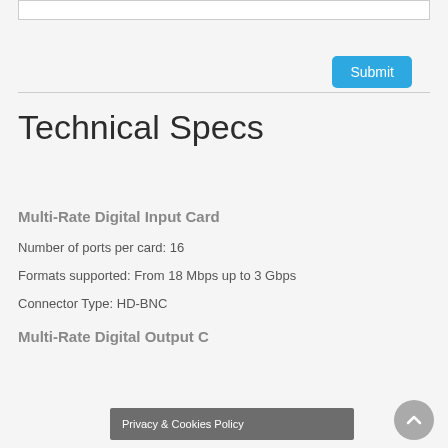[textarea input box]
Submit
Technical Specs
Multi-Rate Digital Input Card
Number of ports per card: 16
Formats supported: From 18 Mbps up to 3 Gbps
Connector Type: HD-BNC
Multi-Rate Digital Output C…
Privacy & Cookies Policy